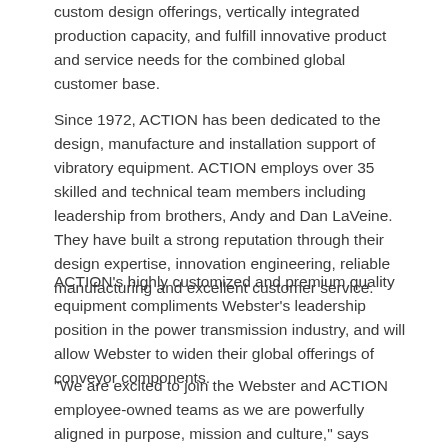custom design offerings, vertically integrated production capacity, and fulfill innovative product and service needs for the combined global customer base.
Since 1972, ACTION has been dedicated to the design, manufacture and installation support of vibratory equipment. ACTION employs over 35 skilled and technical team members including leadership from brothers, Andy and Dan LaVeine. They have built a strong reputation through their design expertise, innovation engineering, reliable manufacturing and excellent customer service.
ACTION's highly customized and premium quality equipment compliments Webster's leadership position in the power transmission industry, and will allow Webster to widen their global offerings of conveyor components.
"We are excited to join the Webster and ACTION employee-owned teams as we are powerfully aligned in purpose, mission and culture," says Andrew J Felter, President & CEO of Webster. "While we are each best-in-class in premium customer value, we also complement